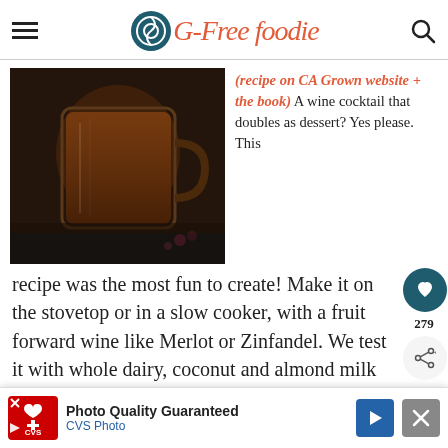G-Free Foodie
[Figure (photo): Dark photo of a glass mug filled with chocolate-colored liquid, possibly hot chocolate or wine cocktail, with small red flowers in background on dark surface]
(recipe on CA Grown website + the book) A wine cocktail that doubles as dessert? Yes please. This recipe was the most fun to create! Make it on the stovetop or in a slow cooker, with a fruit forward wine like Merlot or Zinfandel. We test it with whole dairy, coconut and almond milk too – so everyone (of drinking age) can enjoy a
[Figure (other): CVS Photo advertisement banner at bottom of page: 'Photo Quality Guaranteed' with CVS Pharmacy logo, blue arrow button, and close X button]